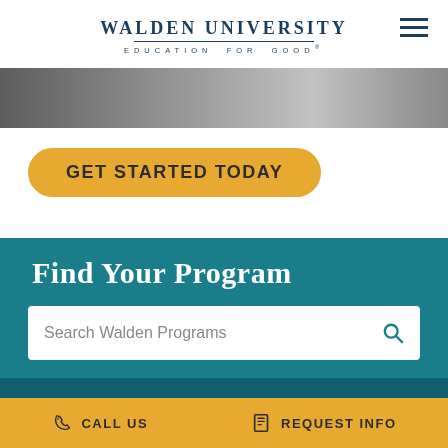WALDEN UNIVERSITY · EDUCATION FOR GOOD®
[Figure (photo): Dark photographic image strip below the header navigation bar]
GET STARTED TODAY
Find Your Program
Search Walden Programs
CALL US   REQUEST INFO